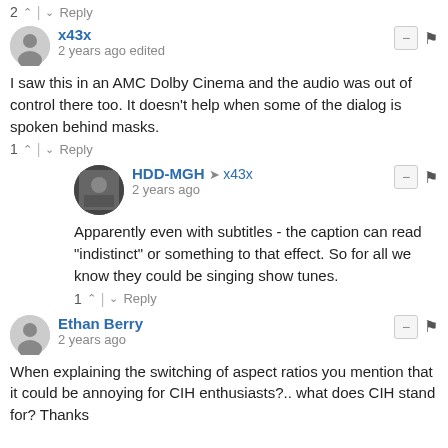2 ↑ | ↓ Reply
x43x
2 years ago edited
I saw this in an AMC Dolby Cinema and the audio was out of control there too. It doesn't help when some of the dialog is spoken behind masks.
1 ↑ | ↓ Reply
HDD-MGH → x43x
2 years ago
Apparently even with subtitles - the caption can read "indistinct" or something to that effect. So for all we know they could be singing show tunes.
1 ↑ | ↓ Reply
Ethan Berry
2 years ago
When explaining the switching of aspect ratios you mention that it could be annoying for CIH enthusiasts?.. what does CIH stand for? Thanks